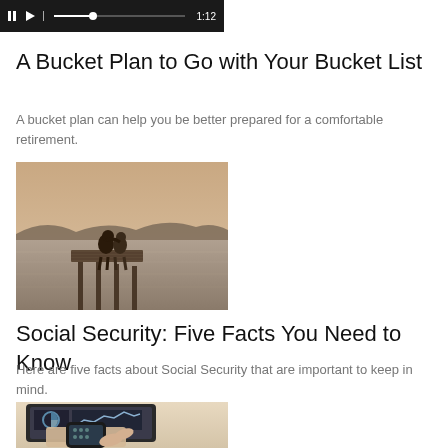[Figure (screenshot): Video player control bar showing pause, play, divider, progress bar and timestamp 1:12 on dark background]
A Bucket Plan to Go with Your Bucket List
A bucket plan can help you be better prepared for a comfortable retirement.
[Figure (photo): Two people sitting on a wooden dock/pier over water, viewed from behind, with mountains in the background. Sepia/warm toned photograph.]
Social Security: Five Facts You Need to Know
Here are five facts about Social Security that are important to keep in mind.
[Figure (photo): Person using a smartphone and tablet with financial charts and graphs visible on a desk. Close-up of hands interacting with devices.]